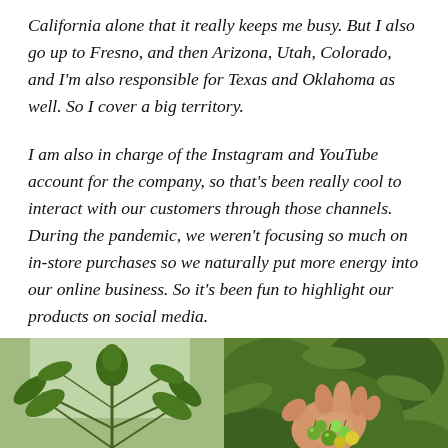California alone that it really keeps me busy. But I also go up to Fresno, and then Arizona, Utah, Colorado, and I'm also responsible for Texas and Oklahoma as well. So I cover a big territory.
I am also in charge of the Instagram and YouTube account for the company, so that's been really cool to interact with our customers through those channels. During the pandemic, we weren't focusing so much on in-store purchases so we naturally put more energy into our online business. So it's been fun to highlight our products on social media.
[Figure (photo): Photo of cannabis/hemp plant with green leaves in a greenhouse or indoor growing setting]
[Figure (photo): Photo of a hand holding small round green and yellow fruits (tomatoes or similar) among green plant foliage]